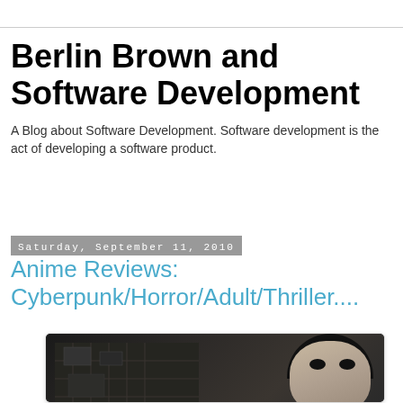Berlin Brown and Software Development
A Blog about Software Development. Software development is the act of developing a software product.
Saturday, September 11, 2010
Anime Reviews: Cyberpunk/Horror/Adult/Thriller....
[Figure (photo): Dark cyberpunk/anime scene showing a dark-haired female figure with pale skin against a dark industrial background with machinery]